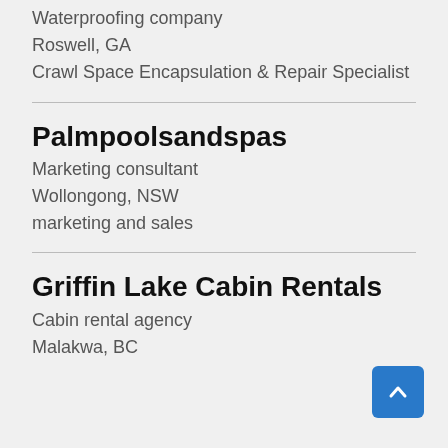Waterproofing company
Roswell, GA
Crawl Space Encapsulation & Repair Specialist
Palmpoolsandspas
Marketing consultant
Wollongong, NSW
marketing and sales
Griffin Lake Cabin Rentals
Cabin rental agency
Malakwa, BC